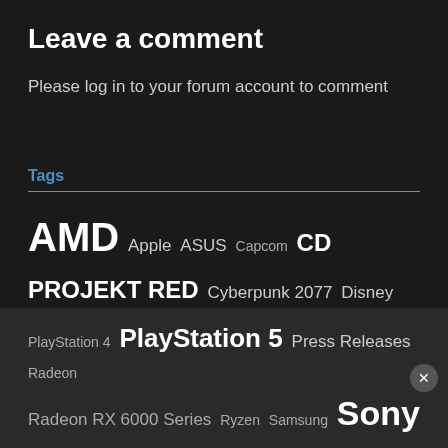Leave a comment
Please log in to your forum account to comment
Tags
AMD Apple ASUS Capcom CD PROJEKT RED Cyberpunk 2077 Disney Displays Drivers EA Epic Games Store Free Games GeForce RTX 30 Series GIGABYTE Google Intel LG Marvel Studios Microsoft Monitors Motherboards MSI Netflix Nintendo NVIDIA OLED PlayStation
PlayStation 4 PlayStation 5 Press Releases Radeon Radeon RX 6000 Series Ryzen Samsung Sony